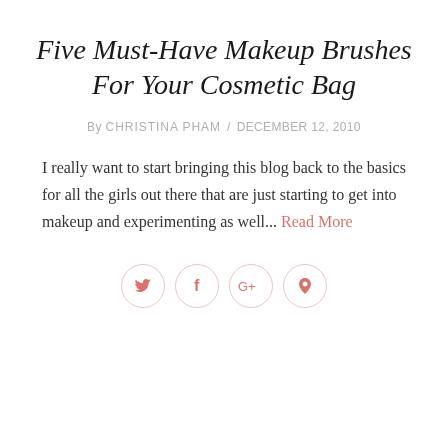Five Must-Have Makeup Brushes For Your Cosmetic Bag
By CHRISTINA PHAM / DECEMBER 12, 2010
I really want to start bringing this blog back to the basics for all the girls out there that are just starting to get into makeup and experimenting as well... Read More
[Figure (infographic): Four social media sharing icons in circles: Twitter (bird/t), Facebook (f), Google+ (G+), Pinterest (p)]